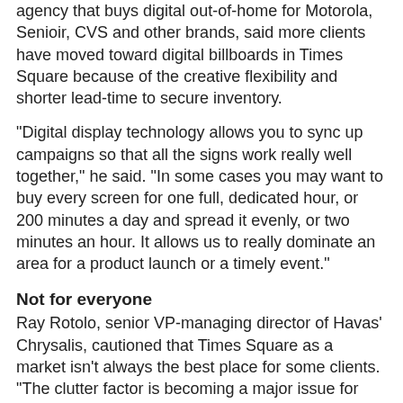agency that buys digital out-of-home for Motorola, Senioir, CVS and other brands, said more clients have moved toward digital billboards in Times Square because of the creative flexibility and shorter lead-time to secure inventory.
"Digital display technology allows you to sync up campaigns so that all the signs work really well together," he said. "In some cases you may want to buy every screen for one full, dedicated hour, or 200 minutes a day and spread it evenly, or two minutes an hour. It allows us to really dominate an area for a product launch or a timely event."
Not for everyone
Ray Rotolo, senior VP-managing director of Havas' Chrysalis, cautioned that Times Square as a market isn't always the best place for some clients. "The clutter factor is becoming a major issue for some," he said. "But we've tried roadblocking before, and for some clients it's worked. [The Times Square Domination] changes the game because there's audio involved, and it's become almost a live opportunity to interact with the people that are there. The question now is, how can we really creatively look at this and make it work the best for us?"